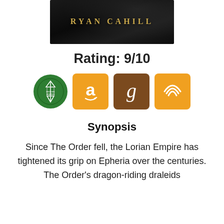[Figure (illustration): Book cover top portion showing author name 'RYAN CAHILL' in gold letters on dark/black background with textured appearance]
Rating: 9/10
[Figure (logo): Four icons in a row: green circle with fantasy/order logo, orange square with Amazon 'a' logo, brown square with Goodreads 'g' logo, orange square with Audible wifi/headphone logo]
Synopsis
Since The Order fell, the Lorian Empire has tightened its grip on Epheria over the centuries. The Order's dragon-riding draleids